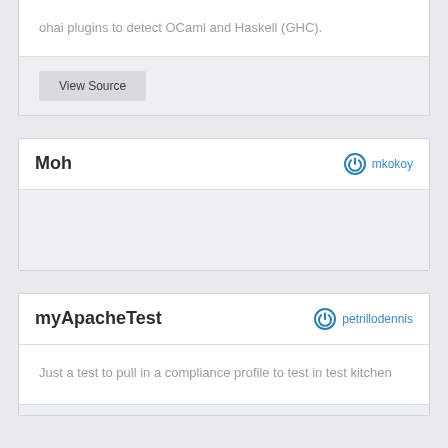ohai plugins to detect OCaml and Haskell (GHC).
View Source
Moh
mkokoy
myApacheTest
petrillodennis
Just a test to pull in a compliance profile to test in test kitchen